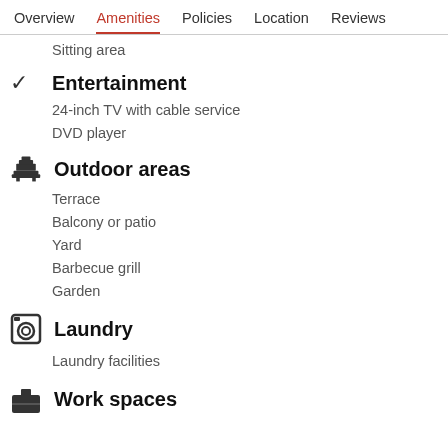Overview  Amenities  Policies  Location  Reviews
Sitting area
Entertainment
24-inch TV with cable service
DVD player
Outdoor areas
Terrace
Balcony or patio
Yard
Barbecue grill
Garden
Laundry
Laundry facilities
Work spaces